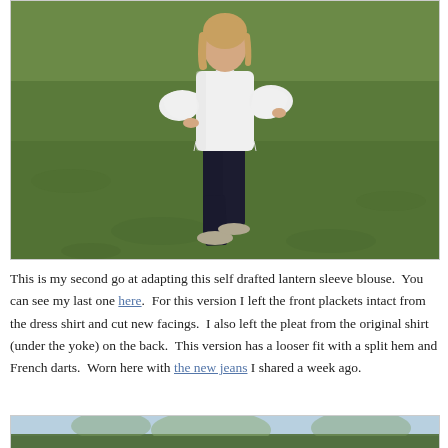[Figure (photo): Woman wearing a white blouse with lantern sleeves and dark navy/black pants, standing on green grass with hand on hip]
This is my second go at adapting this self drafted lantern sleeve blouse.  You can see my last one here.  For this version I left the front plackets intact from the dress shirt and cut new facings.  I also left the pleat from the original shirt (under the yoke) on the back.  This version has a looser fit with a split hem and French darts.  Worn here with the new jeans I shared a week ago.
[Figure (photo): Partial photo of outdoor scene with trees and sky (bottom of page, cropped)]